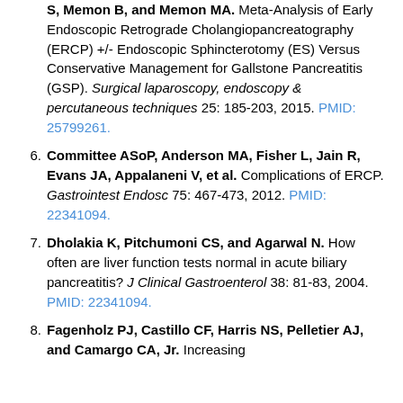[continuation] S, Memon B, and Memon MA. Meta-Analysis of Early Endoscopic Retrograde Cholangiopancreatography (ERCP) +/- Endoscopic Sphincterotomy (ES) Versus Conservative Management for Gallstone Pancreatitis (GSP). Surgical laparoscopy, endoscopy & percutaneous techniques 25: 185-203, 2015. PMID: 25799261.
6. Committee ASoP, Anderson MA, Fisher L, Jain R, Evans JA, Appalaneni V, et al. Complications of ERCP. Gastrointest Endosc 75: 467-473, 2012. PMID: 22341094.
7. Dholakia K, Pitchumoni CS, and Agarwal N. How often are liver function tests normal in acute biliary pancreatitis? J Clinical Gastroenterol 38: 81-83, 2004. PMID: 22341094.
8. Fagenholz PJ, Castillo CF, Harris NS, Pelletier AJ, and Camargo CA, Jr. Increasing